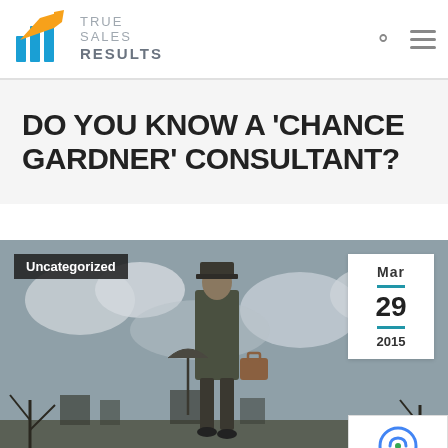True Sales Results
DO YOU KNOW A ‘CHANCE GARDNER’ CONSULTANT?
[Figure (photo): A man in a suit carrying a briefcase and umbrella, walking away from the viewer against a cloudy sky background. Has an 'Uncategorized' badge and a date stamp showing Mar 29 2015.]